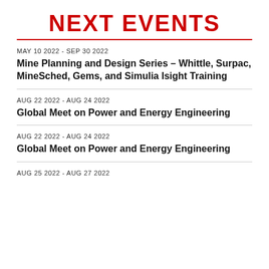NEXT EVENTS
MAY 10 2022 - SEP 30 2022
Mine Planning and Design Series – Whittle, Surpac, MineSched, Gems, and Simulia Isight Training
AUG 22 2022 - AUG 24 2022
Global Meet on Power and Energy Engineering
AUG 22 2022 - AUG 24 2022
Global Meet on Power and Energy Engineering
AUG 25 2022 - AUG 27 2022